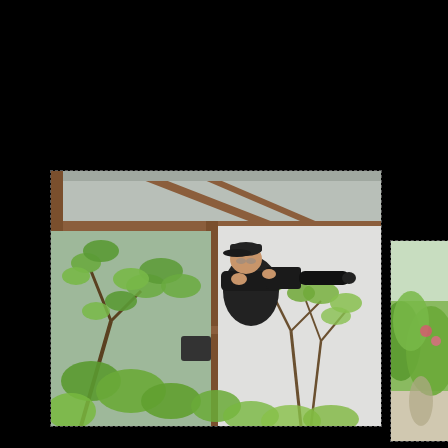[Figure (photo): A photographer standing on a wooden balcony/deck of a Japanese-style building, aiming a large telephoto lens camera. Green leafy tree branches are visible in the foreground. The building has brown wooden structural beams and a white wall. The photographer is wearing a black cap and dark clothing.]
[Figure (photo): Partial view of a second photo showing green foliage/garden scene, partially cropped at the right edge of the page.]